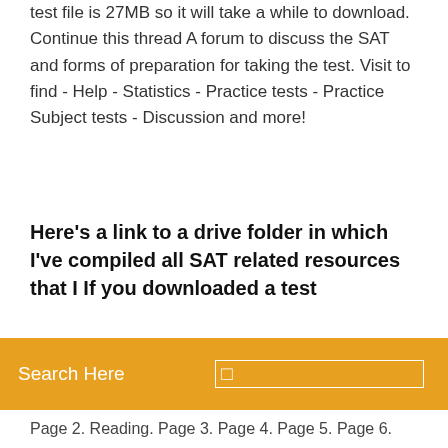test file is 27MB so it will take a while to download. Continue this thread A forum to discuss the SAT and forms of preparation for taking the test. Visit to find - Help - Statistics - Practice tests - Practice Subject tests - Discussion and more!
Here's a link to a drive folder in which I've compiled all SAT related resources that I If you downloaded a test
Search Here
Page 2. Reading. Page 3. Page 4. Page 5. Page 6. Page 7. Page 8. Page 9. Page 10. +. Page 11 May 2019 sat qas Finally, in this section of the article, you will be able to get access to the Cracking the SAT Premium Edition with 7 Practice Tests 2018 PDF Free Download file in . 2019 May SAT QAS Test: Video explanations posted May 28, 2019 Leave a... May 2019 sat qas answers Few usable examples that can be used for SAT essays. Personal collection SAT Essay Questions Prompt: "That which we obtain too easily, we esteem too lightly. It is dearness